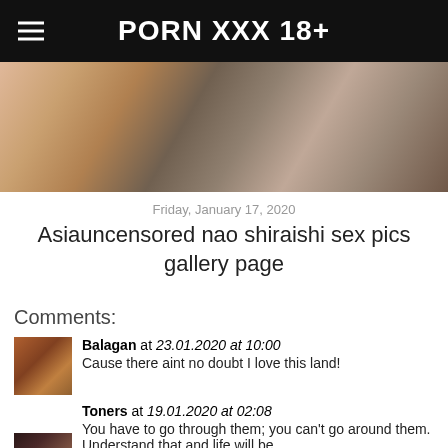PORN XXX 18+
[Figure (photo): Partial view of two women, cropped at torso level]
Friday, January 17, 2020
Asiauncensored nao shiraishi sex pics gallery page
Comments:
Balagan at 23.01.2020 at 10:00
Cause there aint no doubt I love this land!
Toners at 19.01.2020 at 02:08
You have to go through them; you can't go around them. Understand that and life will be